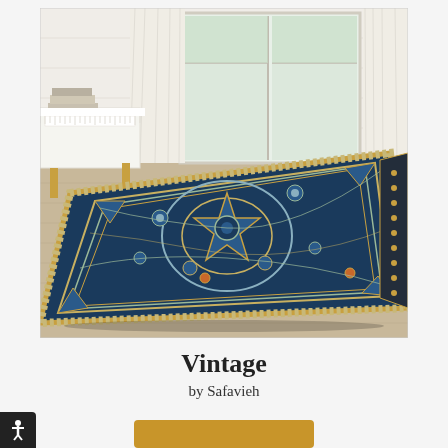[Figure (photo): A navy blue vintage Persian/Oriental style area rug with floral and medallion patterns in gold and teal tones, displayed in a living room setting with white walls, French doors, hardwood floor, and a white bench/table beside the rug.]
Vintage
by Safavieh